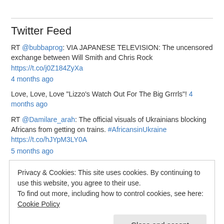Twitter Feed
RT @bubbaprog: VIA JAPANESE TELEVISION: The uncensored exchange between Will Smith and Chris Rock https://t.co/j0Z184ZyXa
4 months ago
Love, Love, Love "Lizzo's Watch Out For The Big Grrrls"! 4 months ago
RT @Damilare_arah: The official visuals of Ukrainians blocking Africans from getting on trains. #AfricansinUkraine https://t.co/hJYpM3LY0A
5 months ago
Privacy & Cookies: This site uses cookies. By continuing to use this website, you agree to their use.
To find out more, including how to control cookies, see here: Cookie Policy
Close and accept